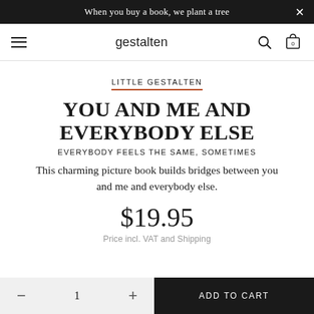When you buy a book, we plant a tree
gestalten
LITTLE GESTALTEN
YOU AND ME AND EVERYBODY ELSE
EVERYBODY FEELS THE SAME, SOMETIMES
This charming picture book builds bridges between you and me and everybody else.
$19.95
Price incl. VAT and Shipping
ADD TO CART